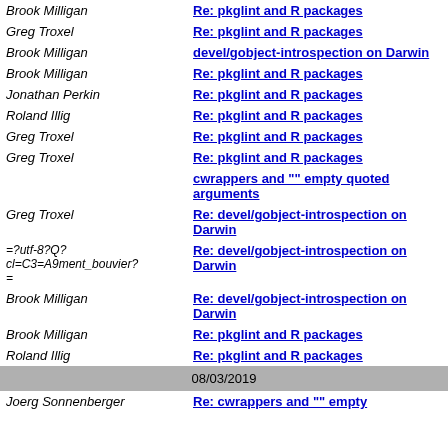| Sender | Subject |
| --- | --- |
| Brook Milligan | Re: pkglint and R packages |
| Greg Troxel | Re: pkglint and R packages |
| Brook Milligan | devel/gobject-introspection on Darwin |
| Brook Milligan | Re: pkglint and R packages |
| Jonathan Perkin | Re: pkglint and R packages |
| Roland Illig | Re: pkglint and R packages |
| Greg Troxel | Re: pkglint and R packages |
| Greg Troxel | Re: pkglint and R packages |
|  | cwrappers and "" empty quoted arguments |
| Greg Troxel | Re: devel/gobject-introspection on Darwin |
| =?utf-8?Q?cl=C3=A9ment_bouvier?= | Re: devel/gobject-introspection on Darwin |
| Brook Milligan | Re: devel/gobject-introspection on Darwin |
| Brook Milligan | Re: pkglint and R packages |
| Roland Illig | Re: pkglint and R packages |
| 08/03/2019 |  |
| Joerg Sonnenberger | Re: cwrappers and "" empty |